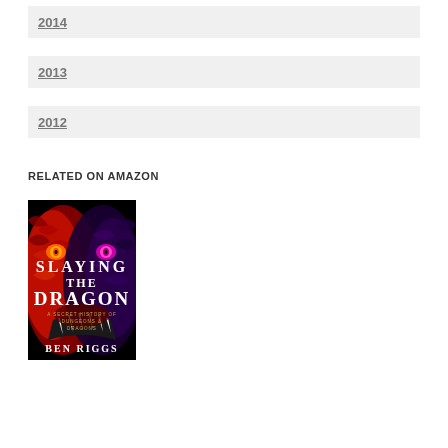2014
2013
2012
RELATED ON AMAZON
[Figure (photo): Book cover: 'Slaying the Dragon: A Secret History of Dungeons & Dragons' by Ben Riggs. Dark background with a red dragon illustration.]